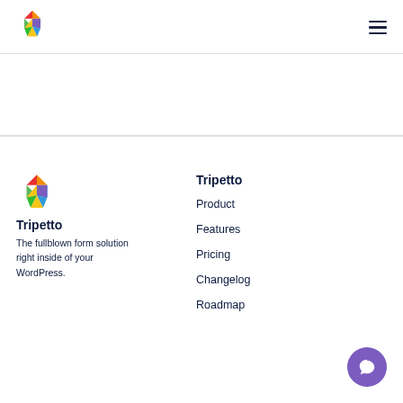[Figure (logo): Tripetto colorful 3D cube/heart logo in top-left header]
[Figure (other): Hamburger menu icon (three horizontal lines) in top-right header]
[Figure (logo): Tripetto colorful 3D cube/heart logo in footer left column]
Tripetto
The fullblown form solution right inside of your WordPress.
Tripetto
Product
Features
Pricing
Changelog
Roadmap
[Figure (other): Purple circular chat/comment bubble button in bottom right]